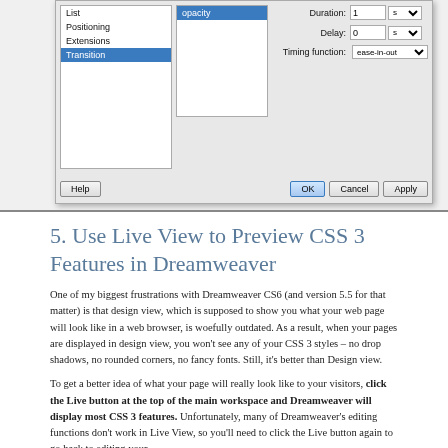[Figure (screenshot): Dreamweaver CSS Transitions dialog box showing left panel with items (List, Positioning, Extensions, Transition selected highlighted), middle panel with 'opacity' selected, and right side showing Duration: 1 s, Delay: 0 s, Timing function: ease-in-out dropdown. Bottom has Help, OK, Cancel, Apply buttons.]
5. Use Live View to Preview CSS 3 Features in Dreamweaver
One of my biggest frustrations with Dreamweaver CS6 (and version 5.5 for that matter) is that design view, which is supposed to show you what your web page will look like in a web browser, is woefully outdated. As a result, when your pages are displayed in design view, you won't see any of your CSS 3 styles – no drop shadows, no rounded corners, no fancy fonts. Still, it's better than Design view.
To get a better idea of what your page will really look like to your visitors, click the Live button at the top of the main workspace and Dreamweaver will display most CSS 3 features. Unfortunately, many of Dreamweaver's editing functions don't work in Live View, so you'll need to click the Live button again to go back to editing your